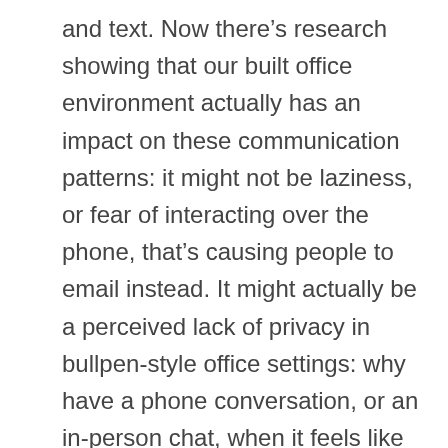and text. Now there's research showing that our built office environment actually has an impact on these communication patterns: it might not be laziness, or fear of interacting over the phone, that's causing people to email instead. It might actually be a perceived lack of privacy in bullpen-style office settings: why have a phone conversation, or an in-person chat, when it feels like everyone on the floor can hear you?
A while back, we wrote about how privacy is gaining traction as an important factor in offices and employee performance. While more companies are adopting intrusive employee surveillance schemes